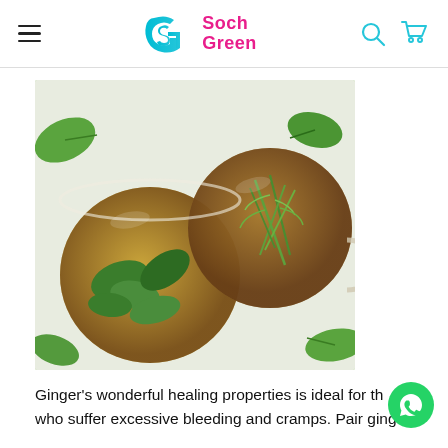Soch Green
[Figure (photo): Overhead view of two glass mugs filled with herbal tea and fresh green herbs (mint and dill), surrounded by green leaves on a white surface]
Ginger's wonderful healing properties is ideal for those who suffer excessive bleeding and cramps. Pair ginger